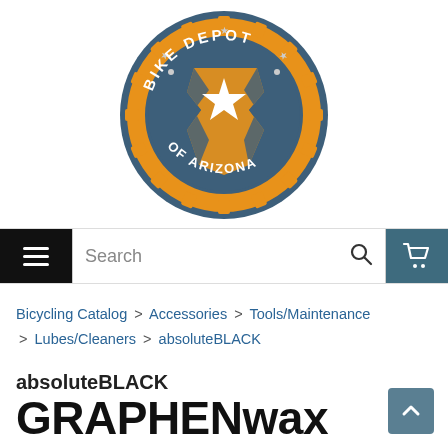[Figure (logo): Bike Depot of Arizona circular logo. Dark blue/teal circle with orange gear border and star in center, white text reading BIKE DEPOT on top arc and OF ARIZONA on bottom arc.]
[Figure (screenshot): Mobile website navigation bar with hamburger menu (black background), search box with 'Search' placeholder and magnifying glass icon, and teal cart icon on right.]
Bicycling Catalog > Accessories > Tools/Maintenance > Lubes/Cleaners > absoluteBLACK
absoluteBLACK
GRAPHENwax Hot Melt Chain Wax